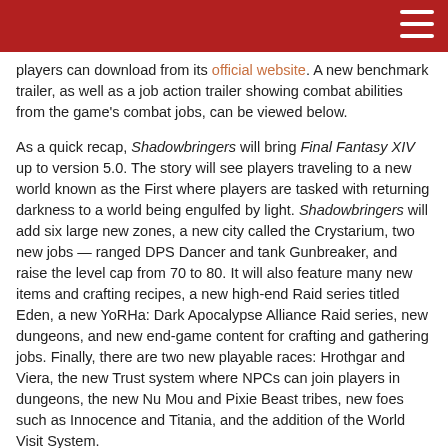players can download from its official website. A new benchmark trailer, as well as a job action trailer showing combat abilities from the game's combat jobs, can be viewed below.
As a quick recap, Shadowbringers will bring Final Fantasy XIV up to version 5.0. The story will see players traveling to a new world known as the First where players are tasked with returning darkness to a world being engulfed by light. Shadowbringers will add six large new zones, a new city called the Crystarium, two new jobs — ranged DPS Dancer and tank Gunbreaker, and raise the level cap from 70 to 80. It will also feature many new items and crafting recipes, a new high-end Raid series titled Eden, a new YoRHa: Dark Apocalypse Alliance Raid series, new dungeons, and new end-game content for crafting and gathering jobs. Finally, there are two new playable races: Hrothgar and Viera, the new Trust system where NPCs can join players in dungeons, the new Nu Mou and Pixie Beast tribes, new foes such as Innocence and Titania, and the addition of the World Visit System.
Like its previous expansion, Stormblood, Shadowbringers will